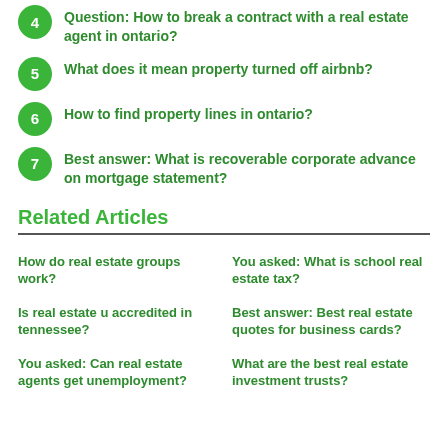4 Question: How to break a contract with a real estate agent in ontario?
5 What does it mean property turned off airbnb?
6 How to find property lines in ontario?
7 Best answer: What is recoverable corporate advance on mortgage statement?
Related Articles
How do real estate groups work?
You asked: What is school real estate tax?
Is real estate u accredited in tennessee?
Best answer: Best real estate quotes for business cards?
You asked: Can real estate agents get unemployment?
What are the best real estate investment trusts?